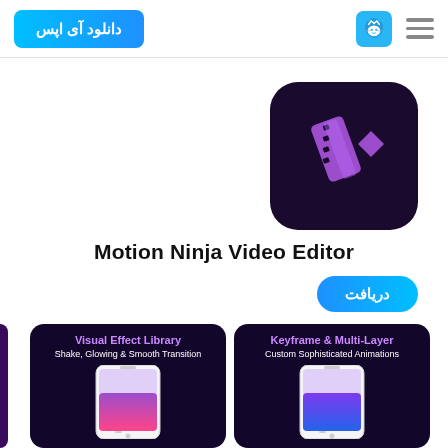دانلود آی اپس
[Figure (logo): Blue cat logo icon with crown]
Motion Ninja Video Editor
دریافت
[Figure (screenshot): App screenshot card: Visual Effect Library - Shake, Glowing & Smooth Transition]
[Figure (screenshot): App screenshot card: Keyframe & Multi-Layer - Custom Sophisticated Animations]